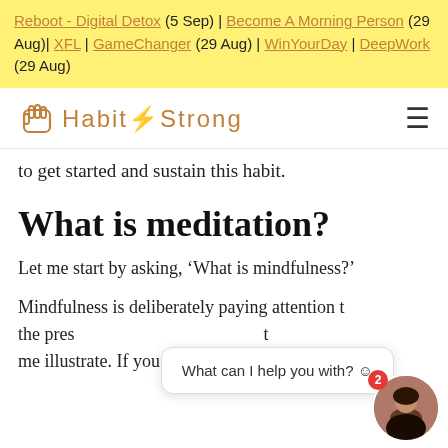Reboot - Digital Detox (5 Sep) | Become A Morning Person (29 Aug)| XFL | GameChanger (29 Aug) | WinYourDay | DeepWork (29 Aug)
HabitStrong
to get started and sustain this habit.
What is meditation?
Let me start by asking, ‘What is mindfulness?’
Mindfulness is deliberately paying attention to the present moment. Let me illustrate. If you are eating your lunch,